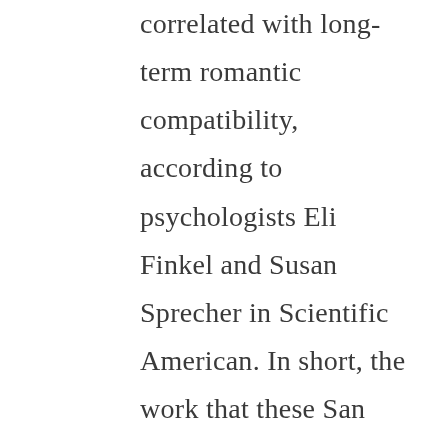correlated with long-term romantic compatibility, according to psychologists Eli Finkel and Susan Sprecher in Scientific American. In short, the work that these San Francisco agencies take off the hands of their clients, and punch into a computer, results in matches that are “negligibly better than matching people at random.” When the client’s own judgement is taken out of the process and computers allowed to blindly match them, the human element is lost, leading to less than desirable dates, shorter and more courtships, and ultimately low customer satisfaction. M...